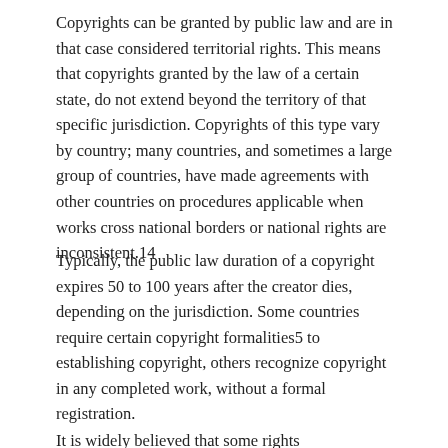Copyrights can be granted by public law and are in that case considered territorial rights. This means that copyrights granted by the law of a certain state, do not extend beyond the territory of that specific jurisdiction. Copyrights of this type vary by country; many countries, and sometimes a large group of countries, have made agreements with other countries on procedures applicable when works cross national borders or national rights are inconsistent.14
Typically, the public law duration of a copyright expires 50 to 100 years after the creator dies, depending on the jurisdiction. Some countries require certain copyright formalities5 to establishing copyright, others recognize copyright in any completed work, without a formal registration.
It is widely believed that some rights...